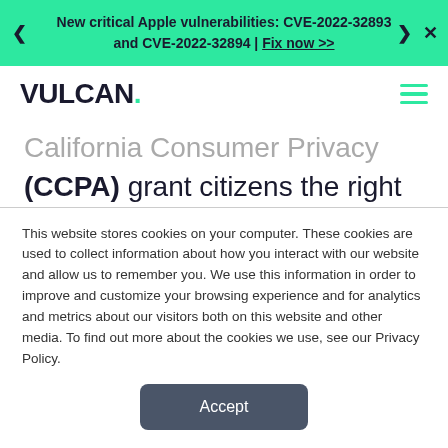New critical Apple vulnerabilities: CVE-2022-32893 and CVE-2022-32894 | Fix now >>
[Figure (logo): VULCAN. logo in black with green dot, hamburger menu icon in green]
California Consumer Privacy Act (CCPA) grant citizens the right to access the personal data you store about them. Under the GDPR, you must also seek consent from individuals to send them marketing
This website stores cookies on your computer. These cookies are used to collect information about how you interact with our website and allow us to remember you. We use this information in order to improve and customize your browsing experience and for analytics and metrics about our visitors both on this website and other media. To find out more about the cookies we use, see our Privacy Policy.
Accept